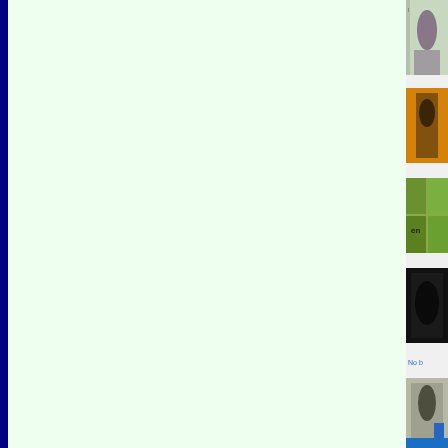[Figure (photo): Thumbnail image 1: silhouette figure, pink/green tones]
[Figure (photo): Thumbnail image 2: figure with orange/warm tones background]
[Figure (photo): Thumbnail image 3: green tiles with text 'en']
[Figure (photo): Thumbnail image 4: dark/black background image]
No b
[Figure (photo): Thumbnail image 5: figure with blue highlight]
[Figure (other): Blue button area at bottom of sidebar]